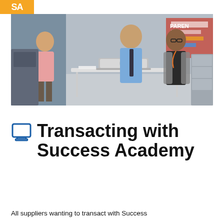SA
[Figure (photo): Two people, a man in a blue shirt and striped tie and a woman in a black turtleneck and gray blazer, standing at a white table looking at an open laptop. A third person in a pink top is visible in the background near office equipment.]
Transacting with Success Academy
All suppliers wanting to transact with Success